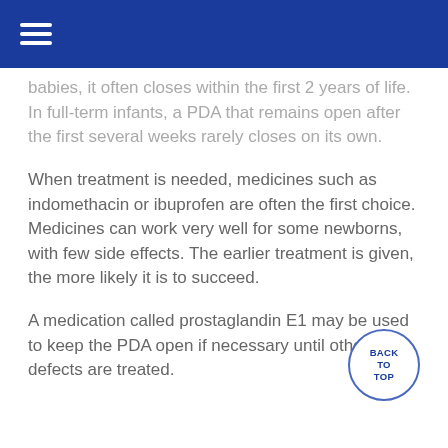babies, it often closes within the first 2 years of life. In full-term infants, a PDA that remains open after the first several weeks rarely closes on its own.
When treatment is needed, medicines such as indomethacin or ibuprofen are often the first choice. Medicines can work very well for some newborns, with few side effects. The earlier treatment is given, the more likely it is to succeed.
A medication called prostaglandin E1 may be used to keep the PDA open if necessary until other defects are treated.
If these measures do not work or can't be used, the baby may need to have surgery done.